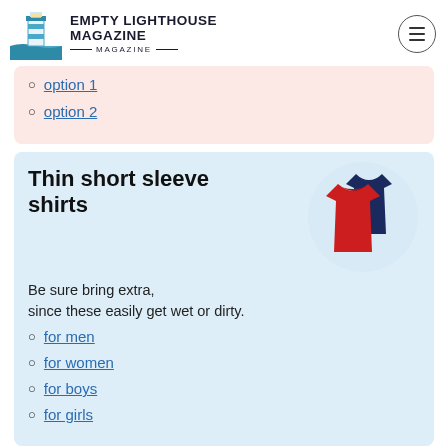Empty Lighthouse Magazine
option 1
option 2
Thin short sleeve shirts
[Figure (photo): Two t-shirts, one red and one navy blue, overlapping in a circular cropped image]
Be sure bring extra, since these easily get wet or dirty.
for men
for women
for boys
for girls